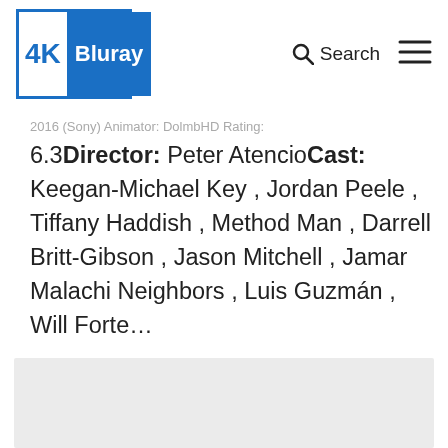4K Bluray — Search
2016 (Sony) Animator: DolmbHD Rating: 6.3Director: Peter AtencioCast: Keegan-Michael Key , Jordan Peele , Tiffany Haddish , Method Man , Darrell Britt-Gibson , Jason Mitchell , Jamar Malachi Neighbors , Luis Guzmán , Will Forte…
[Figure (other): Gray placeholder advertisement or image block]